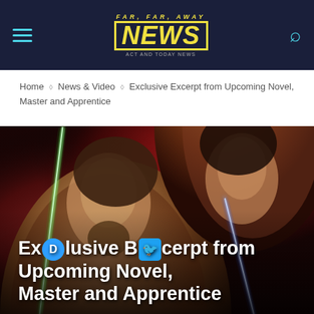Far Far Away News — navigation bar with hamburger menu, logo, and search icon
Home ◇ News & Video ◇ Exclusive Excerpt from Upcoming Novel, Master and Apprentice
[Figure (illustration): Book cover art showing Qui-Gon Jinn and Obi-Wan Kenobi back to back with green and blue lightsabers against a dark red background]
Exclusive Excerpt from Upcoming Novel, Master and Apprentice